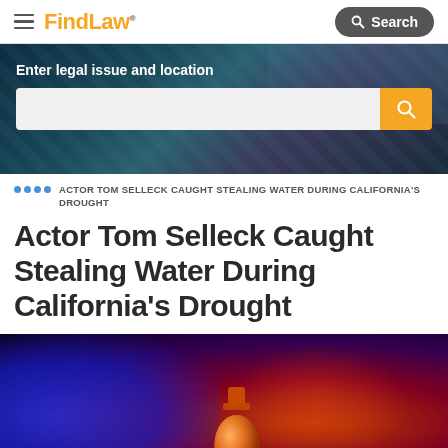FindLaw — Search
[Figure (screenshot): Hero section with dark blue background and search bar. Label reads 'Enter legal issue and location' with an input field and orange search button.]
ACTOR TOM SELLECK CAUGHT STEALING WATER DURING CALIFORNIA'S DROUGHT
Actor Tom Selleck Caught Stealing Water During California's Drought
[Figure (photo): Dark dramatic photo with blue and red lighting, showing an orange glowing object (possibly a bottle or container) in the center foreground.]